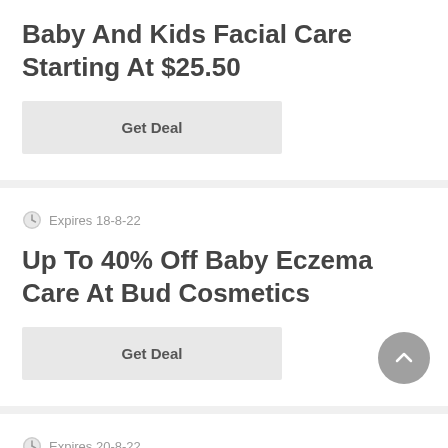Baby And Kids Facial Care Starting At $25.50
Get Deal
Expires 18-8-22
Up To 40% Off Baby Eczema Care At Bud Cosmetics
Get Deal
Expires 20-8-22